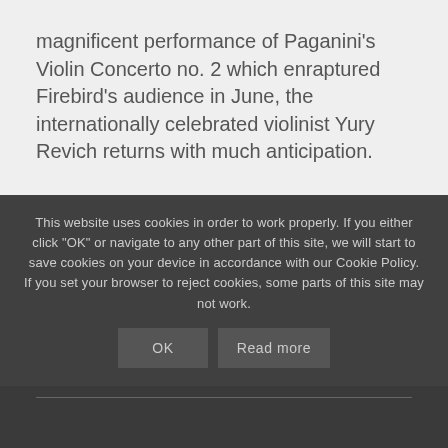magnificent performance of Paganini's Violin Concerto no. 2 which enraptured Firebird's audience in June, the internationally celebrated violinist Yury Revich returns with much anticipation.
Yury has arranged Paganini's 24 Caprices, dazzling gemstones of the violin repertoire, for violin and orchestra, premiering them this November.
This website uses cookies in order to work properly. If you either click "OK" or navigate to any other part of this site, we will start to save cookies on your device in accordance with our Cookie Policy. If you set your browser to reject cookies, some parts of this site may not work.